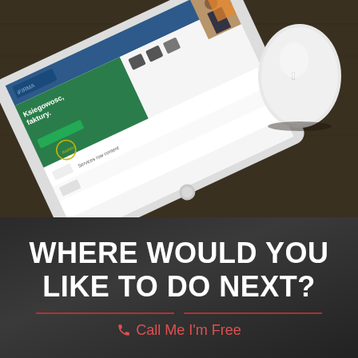[Figure (photo): A tablet displaying a website (ifirma.pl accounting software) with text 'Ksiegowosc, faktury.' and an Apple Magic Mouse on a dark wooden desk surface.]
WHERE WOULD YOU LIKE TO DO NEXT?
Call Me I'm Free